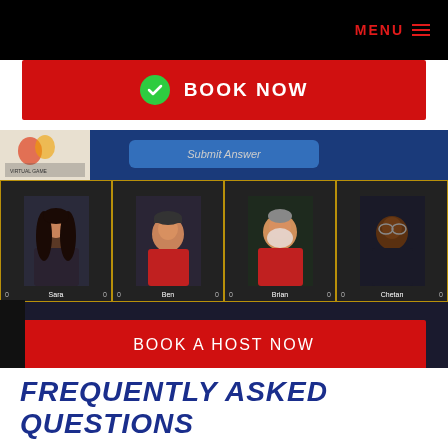MENU
BOOK NOW
[Figure (screenshot): Screenshot of a virtual trivia game interface showing participant video feeds (Sara, Ben, Brian, Chetan) in a blue game UI with a Submit Answer button]
BOOK A HOST NOW
FREQUENTLY ASKED QUESTIONS